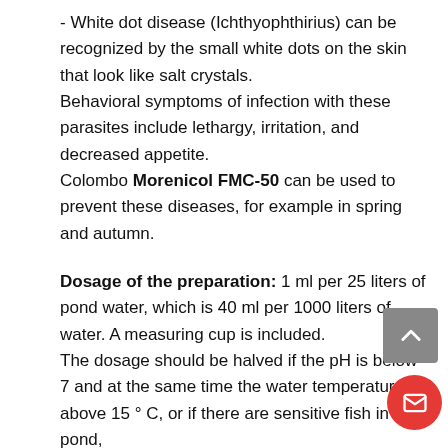- White dot disease (Ichthyophthirius) can be recognized by the small white dots on the skin that look like salt crystals.
Behavioral symptoms of infection with these parasites include lethargy, irritation, and decreased appetite.
Colombo Morenicol FMC-50 can be used to prevent these diseases, for example in spring and autumn.
Dosage of the preparation: 1 ml per 25 liters of pond water, which is 40 ml per 1000 liters of water. A measuring cup is included.
The dosage should be halved if the pH is below 7 and at the same time the water temperature is above 15 ° C, or if there are sensitive fish in the pond,
such as tench or sturgeon. If necessary, the course of treatment can be repeated after 1